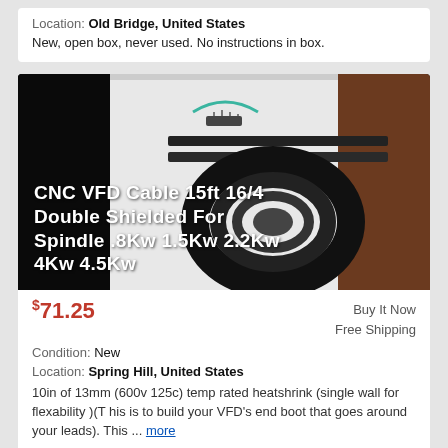Location: Old Bridge, United States
New, open box, never used. No instructions in box.
[Figure (photo): Photo of a coiled black CNC VFD cable on a white background, with text overlay reading: CNC VFD Cable 15ft 16/4 Double Shielded For Spindle .8Kw 1.5Kw 2.2Kw 4Kw 4.5Kw]
$71.25
Buy It Now
Free Shipping
Condition: New
Location: Spring Hill, United States
10in of 13mm (600v 125c) temp rated heatshrink (single wall for flexability )(T his is to build your VFD's end boot that goes around your leads). This ... more